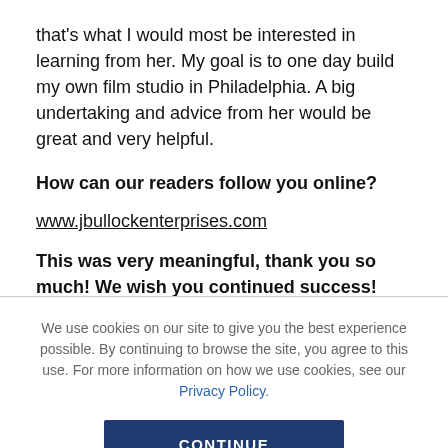that's what I would most be interested in learning from her. My goal is to one day build my own film studio in Philadelphia. A big undertaking and advice from her would be great and very helpful.
How can our readers follow you online?
www.jbullockenterprises.com
This was very meaningful, thank you so much! We wish you continued success!
We use cookies on our site to give you the best experience possible. By continuing to browse the site, you agree to this use. For more information on how we use cookies, see our Privacy Policy.
CONTINUE